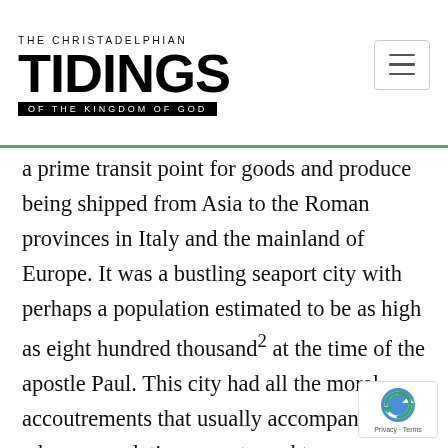THE CHRISTADELPHIAN TIDINGS OF THE KINGDOM OF GOD
a prime transit point for goods and produce being shipped from Asia to the Roman provinces in Italy and the mainland of Europe. It was a bustling seaport city with perhaps a population estimated to be as high as eight hundred thousand² at the time of the apostle Paul. This city had all the moral accoutrements that usually accompany such a large population accustomed to an open culture.³ It is important to appreciate the background conditions in the first century Roman Empire and in particular in the city of Corinth, before one can completely appreciate the climate in